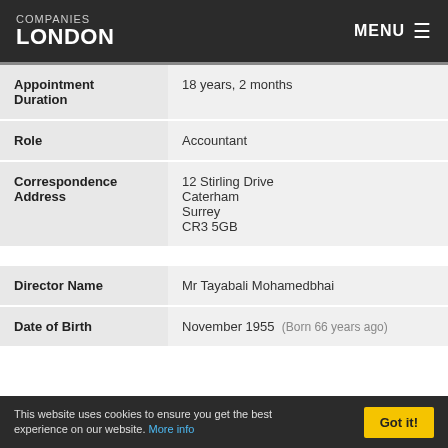COMPANIES LONDON   MENU
| Field | Value |
| --- | --- |
| Appointment Duration | 18 years, 2 months |
| Role | Accountant |
| Correspondence Address | 12 Stirling Drive
Caterham
Surrey
CR3 5GB |
| Field | Value |
| --- | --- |
| Director Name | Mr Tayabali Mohamedbhai |
| Date of Birth | November 1955  (Born 66 years ago) |
This website uses cookies to ensure you get the best experience on our website. More info   Got it!